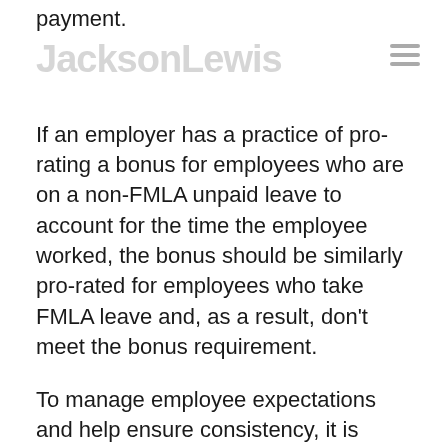payment.
JacksonLewis
If an employer has a practice of pro-rating a bonus for employees who are on a non-FMLA unpaid leave to account for the time the employee worked, the bonus should be similarly pro-rated for employees who take FMLA leave and, as a result, don't meet the bonus requirement.
To manage employee expectations and help ensure consistency, it is recommended that bonus plans and related documents address the treatment of bonuses in leave circumstances.
An increasing number of states and municipalities are passing paid sick leave laws.  Employers in a jurisdiction with a paid sick leave law should examine the bonus – if applicable – as part of these…